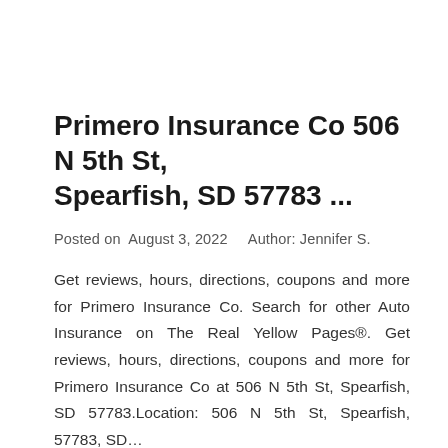Primero Insurance Co 506 N 5th St, Spearfish, SD 57783 ...
Posted on  August 3, 2022     Author: Jennifer S.
Get reviews, hours, directions, coupons and more for Primero Insurance Co. Search for other Auto Insurance on The Real Yellow Pages®. Get reviews, hours, directions, coupons and more for Primero Insurance Co at 506 N 5th St, Spearfish, SD 57783.Location: 506 N 5th St, Spearfish, 57783, SD...